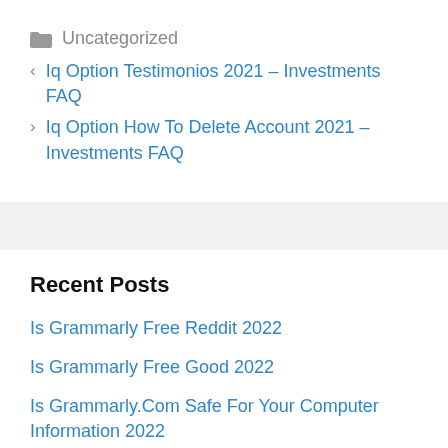Uncategorized
< Iq Option Testimonios 2021 – Investments FAQ
> Iq Option How To Delete Account 2021 – Investments FAQ
Recent Posts
Is Grammarly Free Reddit 2022
Is Grammarly Free Good 2022
Is Grammarly.Com Safe For Your Computer Information 2022